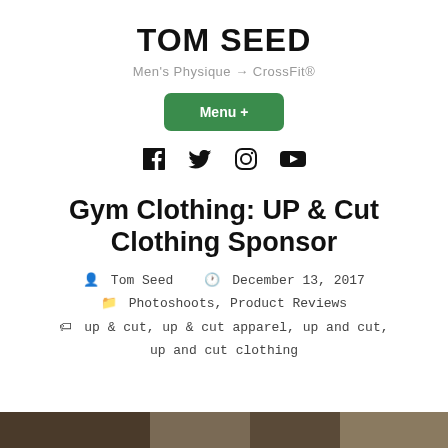TOM SEED
Men's Physique → CrossFit®
Menu +
[Figure (infographic): Social media icons: Facebook, Twitter, Instagram, YouTube]
Gym Clothing: UP & Cut Clothing Sponsor
Tom Seed   December 13, 2017
Photoshoots, Product Reviews
up & cut, up & cut apparel, up and cut, up and cut clothing
[Figure (photo): Bottom photo strip showing gym/clothing imagery]